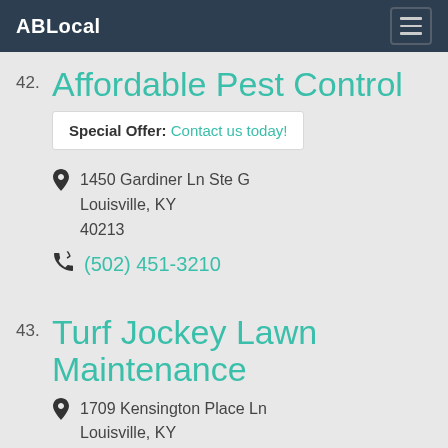ABLocal
42. Affordable Pest Control
Special Offer: Contact us today!
1450 Gardiner Ln Ste G Louisville, KY 40213
(502) 451-3210
43. Turf Jockey Lawn Maintenance
1709 Kensington Place Ln Louisville, KY 40205